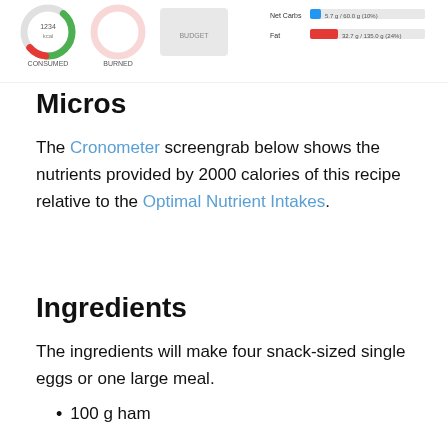[Figure (screenshot): Cronometer app screengrab showing nutrition donut charts (CONSUMED, BURNED, BUDGET) and macro bars for Net Carbs (5.7g/60.0g, 10%) and Fat (32.7g/135.0g, 24%)]
Micros
The Cronometer screengrab below shows the nutrients provided by 2000 calories of this recipe relative to the Optimal Nutrient Intakes.
Ingredients
The ingredients will make four snack-sized single eggs or one large meal.
100 g ham